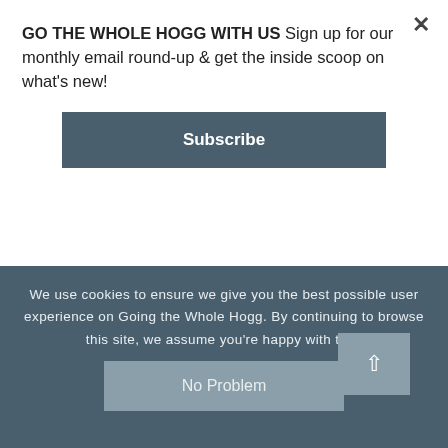GO THE WHOLE HOGG WITH US Sign up for our monthly email round-up & get the inside scoop on what's new!
Subscribe
regions in the Greater Caucasus such as Svaneti or Tusheti. The max elevation on the Panorama Trail stays below 2200 m, and hiking is possible from Spring to late
We use cookies to ensure we give you the best possible user experience on Going the Whole Hogg. By continuing to browse this site, we assume you're happy with this.
No Problem